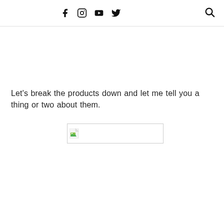f  instagram  youtube  twitter  search
Let's break the products down and let me tell you a thing or two about them.
[Figure (photo): Broken image placeholder with small image icon]